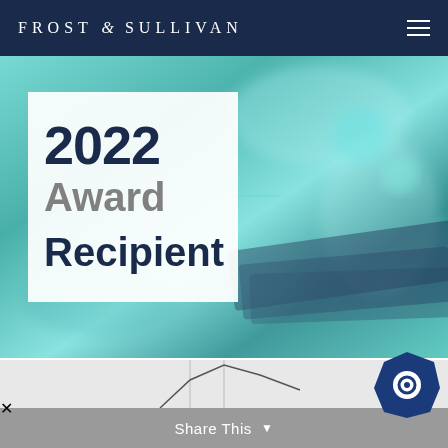FROST & SULLIVAN
[Figure (photo): 2022 Award Recipient banner with teal/cyan glassy crystal background and white semi-transparent box showing '2022 Award Recipient' text]
Optina Diagnostics Earns Frost & Sullivan's 2022 North American Technology Innovation Leadership Award For Leveraging Innovative Eye Imagery And Artificial Intelligence For Chronic Diseases Detection Including
Share This